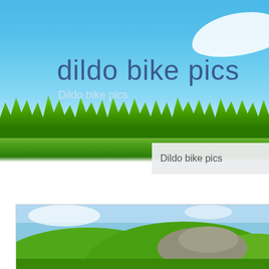[Figure (photo): Website header banner showing blue sky, white cloud, and green grass at the bottom. Large title text reads 'dildo bike pics' with subtitle 'Dildo bike pics'.]
dildo bike pics
Dildo bike pics
Dildo bike pics
[Figure (photo): Landscape photo showing green rolling hills with rocky terrain and blue sky.]